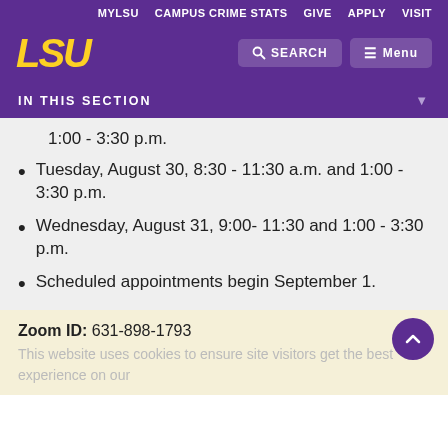MYLSU  CAMPUS CRIME STATS  GIVE  APPLY  VISIT
[Figure (logo): LSU logo in gold italic text on purple background]
1:00 - 3:30 p.m.
Tuesday, August 30, 8:30 - 11:30 a.m. and 1:00 - 3:30 p.m.
Wednesday, August 31, 9:00- 11:30 and 1:00 - 3:30 p.m.
Scheduled appointments begin September 1.
Zoom ID: 631-898-1793
This website uses cookies to ensure site visitors get the best experience on our